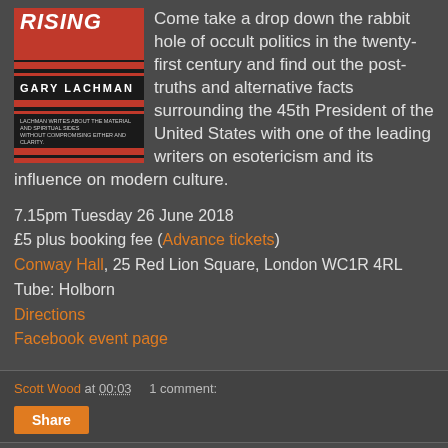[Figure (illustration): Book cover for 'Dark Star Rising' by Gary Lachman, featuring red and black design with horizontal bars]
Come take a drop down the rabbit hole of occult politics in the twenty-first century and find out the post-truths and alternative facts surrounding the 45th President of the United States with one of the leading writers on esotericism and its influence on modern culture.
7.15pm Tuesday 26 June 2018
£5 plus booking fee (Advance tickets)
Conway Hall, 25 Red Lion Square, London WC1R 4RL
Tube: Holborn
Directions
Facebook event page
Scott Wood at 00:03   1 comment: